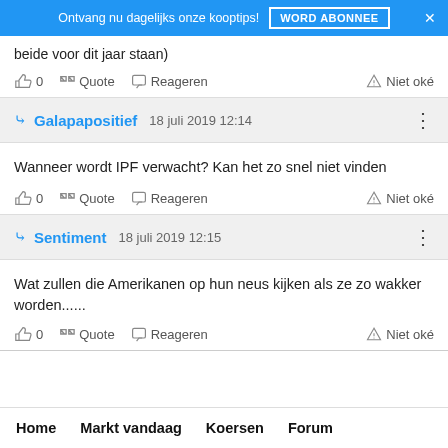Ontvang nu dagelijks onze kooptips! WORD ABONNEE ×
beide voor dit jaar staan)
👍 0   "  Quote   💬 Reageren   △ Niet oké
Galapapositief   18 juli 2019 12:14
Wanneer wordt IPF verwacht? Kan het zo snel niet vinden
👍 0   "  Quote   💬 Reageren   △ Niet oké
Sentiment   18 juli 2019 12:15
Wat zullen die Amerikanen op hun neus kijken als ze zo wakker worden......
👍 0   "  Quote   💬 Reageren   △ Niet oké
Home   Markt vandaag   Koersen   Forum